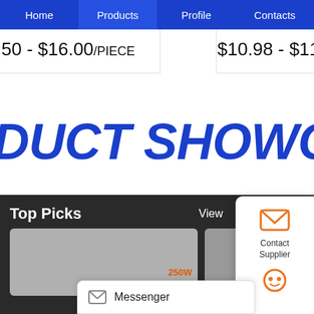Home | Products | Profile | Contacts
50 - $16.00/PIECE
$10.98 - $11.20/P
DUCT SHOWCA
Top Picks
View
[Figure (photo): Product thumbnail image showing 250W and 200W labels]
Messenger
Contact Supplier